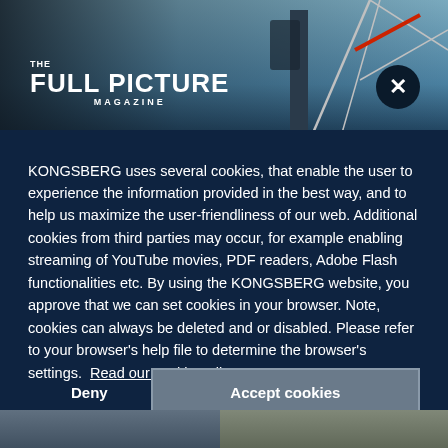[Figure (photo): Top banner showing a crane or industrial structure against a blue sky, partially obscured by the cookie consent overlay]
THE FULL PICTURE MAGAZINE
KONGSBERG uses several cookies, that enable the user to experience the information provided in the best way, and to help us maximize the user-friendliness of our web. Additional cookies from third parties may occur, for example enabling streaming of YouTube movies, PDF readers, Adobe Flash functionalities etc. By using the KONGSBERG website, you approve that we can set cookies in your browser. Note, cookies can always be deleted and or disabled. Please refer to your browser's help file to determine the browser's settings. Read our cookie policy
Deny
Accept cookies
[Figure (photo): Bottom strip showing two partial images at the bottom of the page]